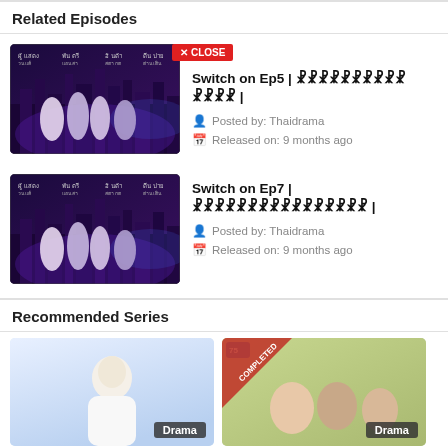Related Episodes
[Figure (screenshot): Thumbnail for Switch on Ep5 - Thai drama show poster with city skyline and characters in medical/formal attire]
Switch on Ep5 | ???????????????? ???? |
Posted by: Thaidrama
Released on: 9 months ago
[Figure (screenshot): Thumbnail for Switch on Ep7 - Thai drama show poster with city skyline and characters in medical/formal attire]
Switch on Ep7 | ???????????????? |
Posted by: Thaidrama
Released on: 9 months ago
Recommended Series
[Figure (photo): Drama card - person in white suit on light background, Drama badge]
[Figure (photo): Drama card - people with completed ribbon, Drama badge]